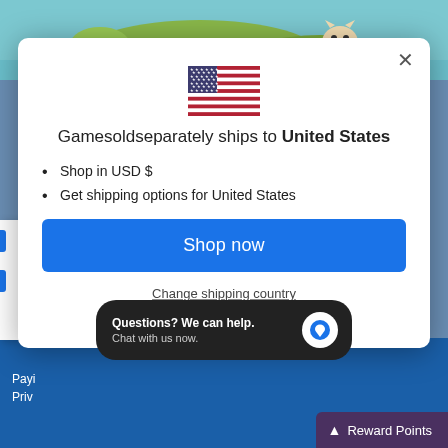[Figure (screenshot): Background game scene with cartoon landscape visible behind modal]
[Figure (illustration): US flag illustration in center of modal]
Gamesoldseparately ships to United States
Shop in USD $
Get shipping options for United States
Shop now
Change shipping country
Questions? We can help. Chat with us now.
Payi
Priv
Reward Points